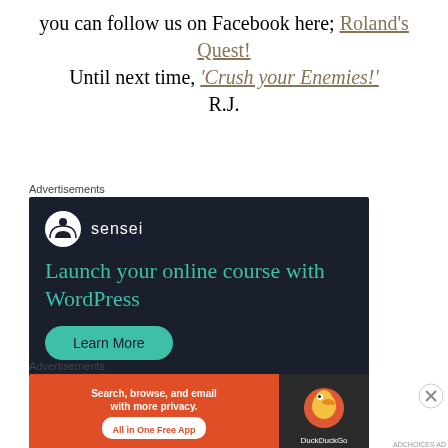you can follow us on Facebook here; Roland's Quest! Until next time, 'Crush your Enemies!' R.J.
Advertisements
[Figure (illustration): Sensei advertisement: dark navy background with Sensei logo (tree icon in circle), text 'Launch your online course with WordPress', teal 'Learn More' button, 'Powered by WordPress.com' footer]
Advertisements
[Figure (illustration): DuckDuckGo advertisement: orange left panel with 'Search, browse, and email with more privacy. All in One Free App', dark right panel with DuckDuckGo duck logo]